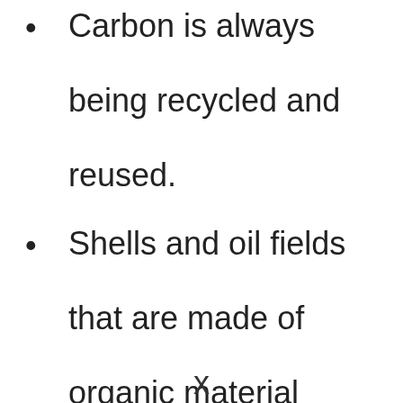Carbon is always being recycled and reused.
Shells and oil fields that are made of organic material
x